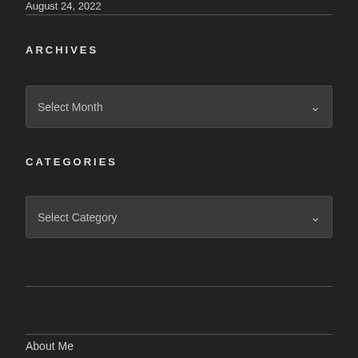August 24, 2022
ARCHIVES
[Figure (other): Select Month dropdown widget]
CATEGORIES
[Figure (other): Select Category dropdown widget]
About Me